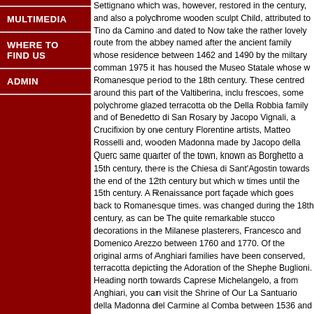MULTIMEDIA
WHERE TO FIND US
ADMIN
Settignano which was, however, restored in the century, and also a polychrome wooden sculpt Child, attributed to Tino da Camino and dated to Now take the rather lovely route from the abbey named after the ancient family whose residence between 1462 and 1490 by the miltary comman 1975 it has housed the Museo Statale whose w Romanesque period to the 18th century. These centred around this part of the Valtiberina, inclu frescoes, some polychrome glazed terracotta ob the Della Robbia family and of Benedetto di San Rosary by Jacopo Vignali, a Crucifixion by one century Florentine artists, Matteo Rosselli and, wooden Madonna made by Jacopo della Querce same quarter of the town, known as Borghetto a 15th century, there is the Chiesa di Sant'Agostin towards the end of the 12th century but which w times until the 15th century. A Renaissance port façade which goes back to Romanesque times. was changed during the 18th century, as can be The quite remarkable stucco decorations in the Milanese plasterers, Francesco and Domenico Arezzo between 1760 and 1770. Of the original arms of Anghiari families have been conserved, terracotta depicting the Adoration of the Shephe Buglioni. Heading north towards Caprese Michelangelo, a from Anghiari, you can visit the Shrine of Our La Santuario della Madonna del Carmine al Comba between 1536 and 1552 following a miracle. Ins Madonna and Child with the young St John the of the 16th century. This is a contemporary copy